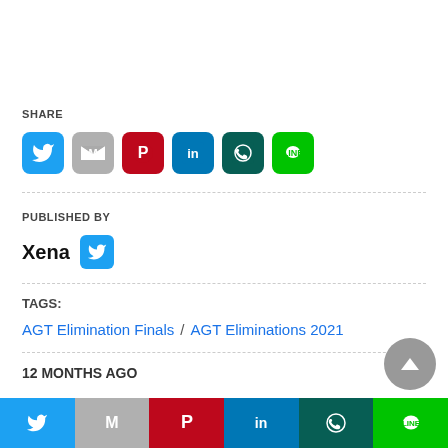SHARE
[Figure (infographic): Row of 6 social share icon buttons: Twitter (blue), Gmail (gray), Pinterest (red), LinkedIn (blue), WhatsApp (dark green), LINE (green)]
PUBLISHED BY
Xena (with Twitter icon)
TAGS:
AGT Elimination Finals / AGT Eliminations 2021
12 MONTHS AGO
[Figure (infographic): Bottom navigation bar with 6 colored social share buttons: Twitter, Gmail, Pinterest, LinkedIn, WhatsApp, LINE]